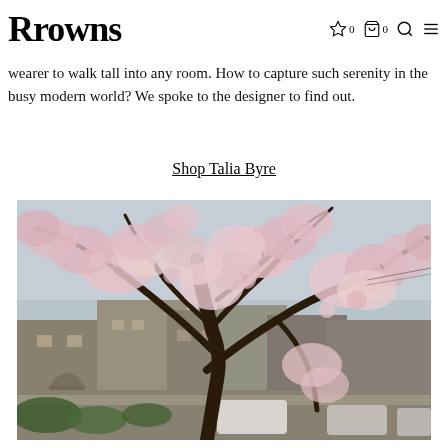Rrowns  ☆ 0  🛍 0  🔍  ≡
wearer to walk tall into any room. How to capture such serenity in the busy modern world? We spoke to the designer to find out.
Shop Talia Byre
[Figure (photo): Cherry blossom tree in full bloom on a residential street, with pink flowers covering dark branches, houses and parked cars visible in the background under an overcast sky.]